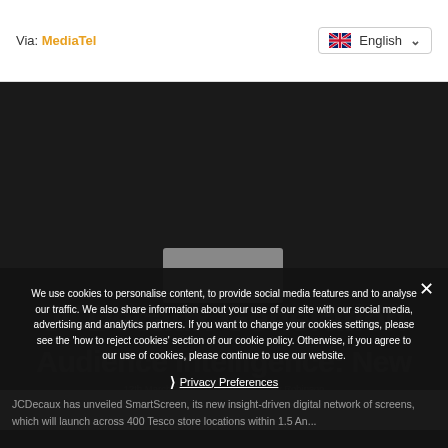Via: MediaTel
[Figure (screenshot): Language selector showing UK flag and 'English' with dropdown chevron]
[Figure (screenshot): Article page background showing partial article title and dark overlay]
We use cookies to personalise content, to provide social media features and to analyse our traffic. We also share information about your use of our site with our social media, advertising and analytics partners. If you want to change your cookies settings, please see the 'how to reject cookies' section of our cookie policy. Otherwise, if you agree to our use of cookies, please continue to use our website.
Privacy Preferences
I Agree
JCDecaux has unveiled SmartScreen, its new insight-driven digital network of screens, which will launch across 400 Tesco store locations within 1.5 An...